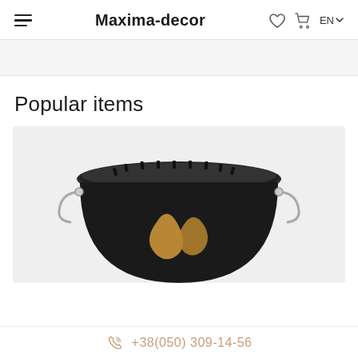Maxima-decor  EN
Popular items
[Figure (photo): Black paint/plaster bucket with gold decorative logo, viewed from above and slightly to the side, on a light gray background]
+38(050) 309-14-56